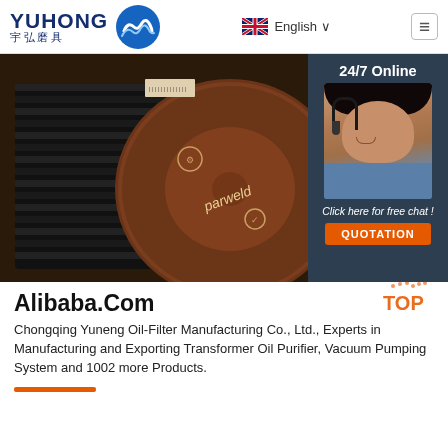[Figure (logo): Yuhong logo with Chinese characters 宇弘磨具 and blue wave icon]
English ∨
[Figure (photo): Close-up photo of stacked grinding/cutting discs branded 'parweld', dark industrial look. Side panel shows 24/7 Online chat widget with female customer service agent photo, 'Click here for free chat!' text, and orange QUOTATION button.]
Alibaba.Com
Chongqing Yuneng Oil-Filter Manufacturing Co., Ltd., Experts in Manufacturing and Exporting Transformer Oil Purifier, Vacuum Pumping System and 1002 more Products.